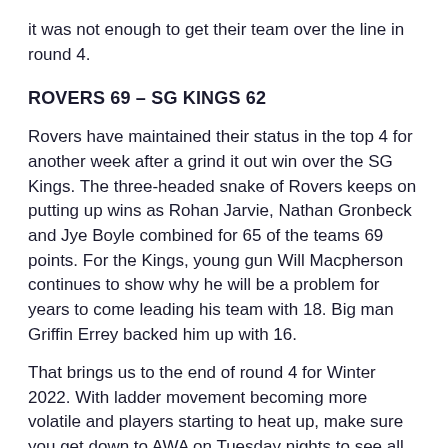it was not enough to get their team over the line in round 4.
ROVERS 69 – SG KINGS 62
Rovers have maintained their status in the top 4 for another week after a grind it out win over the SG Kings. The three-headed snake of Rovers keeps on putting up wins as Rohan Jarvie, Nathan Gronbeck and Jye Boyle combined for 65 of the teams 69 points. For the Kings, young gun Will Macpherson continues to show why he will be a problem for years to come leading his team with 18. Big man Griffin Errey backed him up with 16.
That brings us to the end of round 4 for Winter 2022. With ladder movement becoming more volatile and players starting to heat up, make sure you get down to AWA on Tuesday nights to see all the action!
🔗 Technical Officials Program Development Officer